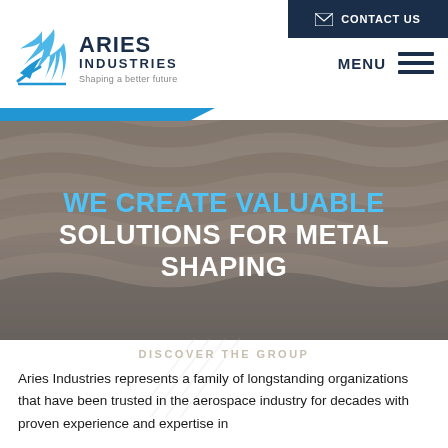[Figure (logo): Aries Industries logo with stylized wing/feather icon in blue and navy, text 'ARIES INDUSTRIES' and tagline 'Shaping a better future']
[Figure (screenshot): Navigation bar with contact us button (dark navy) and hamburger menu with MENU label]
[Figure (photo): Hero background photo of corrugated/wavy metal sheets in silver-grey tones]
WE CREATE VALUABLE SOLUTIONS FOR METAL SHAPING
DISCOVER THE GROUP
Aries Industries represents a family of longstanding organizations that have been trusted in the aerospace industry for decades with proven experience and expertise in